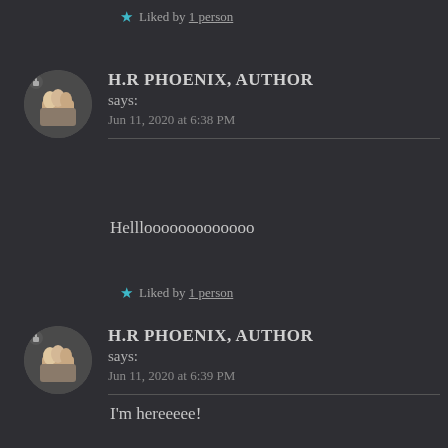★ Liked by 1 person
H.R PHOENIX, AUTHOR says: Jun 11, 2020 at 6:38 PM
Helllooooooooooooo
★ Liked by 1 person
H.R PHOENIX, AUTHOR says: Jun 11, 2020 at 6:39 PM
I'm hereeeee!